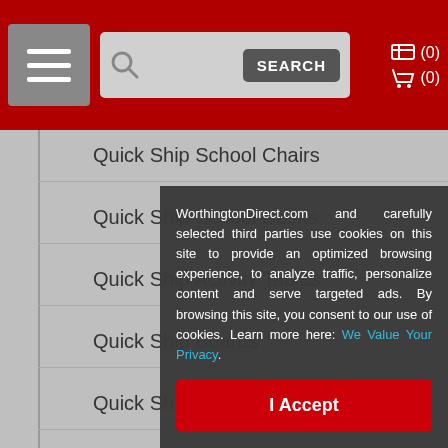Navigation header with menu button, search bar, and cart icons (0) (0)
Quick Ship School Chairs
Quick Ship School Desks
Quick Ship Activity Tables
Quick Ship Boards
Quick Ship Folding Tables
Quick Ship Partitions & Room Dividers
Quick...
Quick...
Quick...
Quick...
Quick... (red link)
WorthingtonDirect.com and carefully selected third parties use cookies on this site to provide an optimized browsing experience, to analyze traffic, personalize content and serve targeted ads. By browsing this site, you consent to our use of cookies. Learn more here: We Value Your Privacy.
I Accept